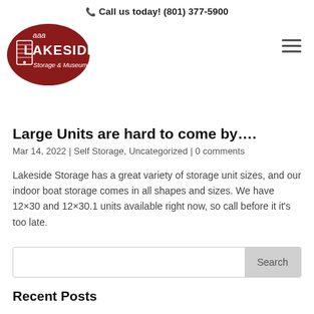Call us today! (801) 377-5900
[Figure (logo): AAA Lakeside Storage & Museum oval red logo with white text and storage unit icon]
Large Units are hard to come by….
Mar 14, 2022 | Self Storage, Uncategorized | 0 comments
Lakeside Storage has a great variety of storage unit sizes, and our indoor boat storage comes in all shapes and sizes. We have 12×30 and 12×30.1 units available right now, so call before it it's too late.
Search
Recent Posts